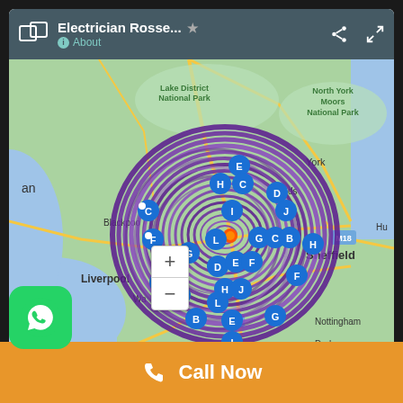[Figure (screenshot): Google My Maps screenshot showing a map of northern England with a large cluster of blue pin markers (labeled A-J) arranged in a circular pattern over the Lancashire/Yorkshire area. The map shows cities including Liverpool, Sheffield, Blackpool, York, Nottingham, Derby, Leicester. Above the map is a dark teal browser/app toolbar showing 'Electrician Rosse...' with a star, share icon, and expand icon, and an 'About' link below.]
Call Now